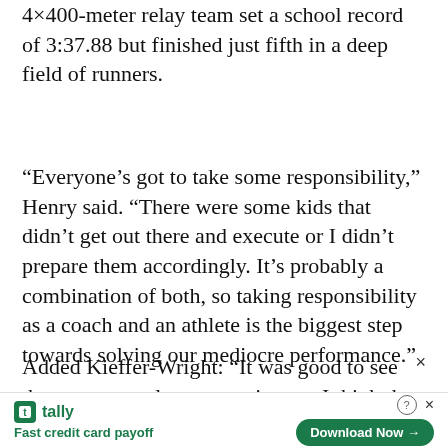4×400-meter relay team set a school record of 3:37.88 but finished just fifth in a deep field of runners.
“Everyone’s got to take some responsibility,” Henry said. “There were some kids that didn’t get out there and execute or I didn’t prepare them accordingly. It’s probably a combination of both, so taking responsibility as a coach and an athlete is the biggest step towards solving our mediocre performance.”
Added Kieffer-Wright: “It was good to see that some people are stepping up. I think that if
[Figure (screenshot): Advertisement banner for Tally app at bottom of page. Shows Tally logo (green square icon), name 'tally' in green, tagline 'Fast credit card payoff' in green, a 'Download Now →' button in dark green rounded rectangle, and a close X button in top right of ad.]